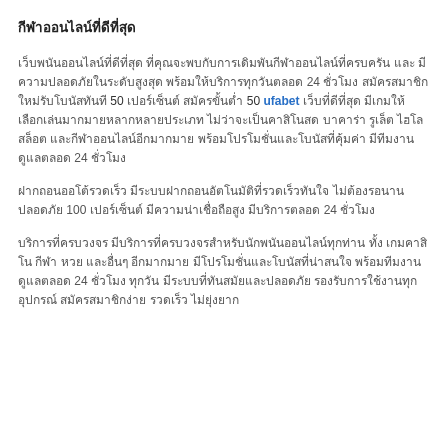กีฬาออนไลน์ที่ดีที่สุด
เว็บพนันออนไลน์ที่ดีที่สุด ที่คุณจะพบกับการเดิมพันกีฬาออนไลน์ที่ครบครัน และ มีความปลอดภัยในระดับสูงสุด พร้อมให้บริการทุกวันตลอด 24 ชั่วโมง สมัครสมาชิกใหม่รับโบนัสทันที 50 เปอร์เซ็นต์ สมัครขั้นต่ำ 50 ufabet เว็บที่ดีที่สุด มีเกมให้เลือกเล่นมากมายหลากหลายประเภท ไม่ว่าจะเป็นคาสิโนสด บาคาร่า รูเล็ต ไฮโล สล็อต และกีฬาออนไลน์อีกมากมาย พร้อมโปรโมชั่นและโบนัสที่คุ้มค่า มีทีมงานดูแลตลอด 24 ชั่วโมง
ฝากถอนออโต้รวดเร็ว มีระบบฝากถอนอัตโนมัติที่รวดเร็วทันใจ ไม่ต้องรอนาน ปลอดภัย 100 เปอร์เซ็นต์ มีความน่าเชื่อถือสูง
บริการที่ครบวงจร มีบริการที่ครบวงจรสำหรับนักพนันออนไลน์ทุกท่าน ทั้ง เกมคาสิโน กีฬา หวย และอื่นๆ อีกมากมาย มีโปรโมชั่นและโบนัสที่น่าสนใจ พร้อมทีมงานดูแลตลอด 24 ชั่วโมง ทุกวัน